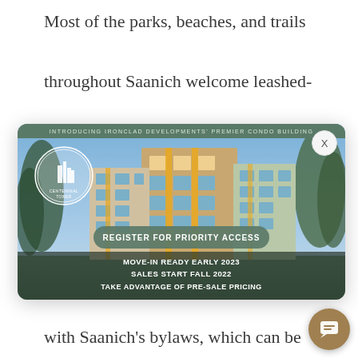Most of the parks, beaches, and trails throughout Saanich welcome leashed-dogs, but there are no-official, dog off-leash areas. The Saanich Parks bylaws
[Figure (photo): Advertisement popup for Centennial Tower condo development by Ironclad Developments. Shows a rendered image of a modern multi-story condo building with yellow accent panels against a blue sky with trees. Header text: 'INTRODUCING IRONCLAD DEVELOPMENTS' PREMIER CONDO BUILDING'. Contains a green oval button 'REGISTER FOR PRIORITY ACCESS'. Bottom text: 'MOVE-IN READY EARLY 2023 / SALES START FALL 2022 / TAKE ADVANTAGE OF PRE-SALE PRICING'. Has a circular Centennial Tower logo in the upper left. A close button X appears in the upper right corner of the popup.]
plenty of places to walk your favourite furbabies, please familiarize yourself with Saanich's bylaws, which can be